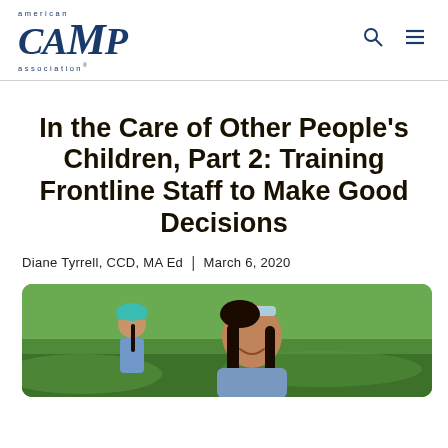american CAMP association
In the Care of Other People's Children, Part 2: Training Frontline Staff to Make Good Decisions
Diane Tyrrell, CCD, MA Ed  |  March 6, 2020
[Figure (photo): A young girl with braids and sunglasses on her head, smiling, outdoors on green grass. Another child in a blue shirt and teal cap is visible in the background to the left.]